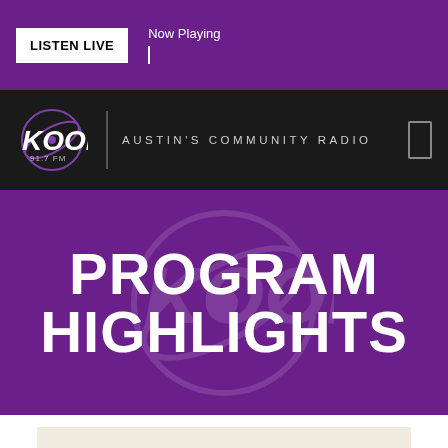LISTEN LIVE | Now Playing
[Figure (logo): KOOP 91.7 FM Austin's Community Radio logo on black bar]
PROGRAM HIGHLIGHTS
[Figure (illustration): STRONGER SATURDAY NITE PARTY SOUNDS banner with red text on cream background]